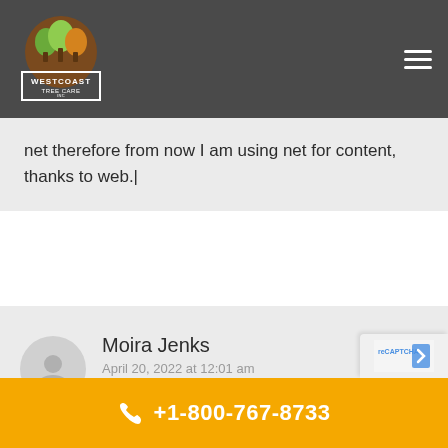Westcoast Tree Care Inc.
net therefore from now I am using net for content, thanks to web.|
Moira Jenks
April 20, 2022 at 12:01 am

This post is worth everyone's attention. When can I find out more?|
+1-800-767-8733